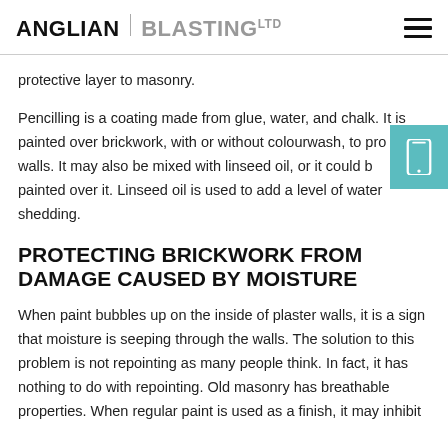ANGLIAN BLASTING LTD
protective layer to masonry.
Pencilling is a coating made from glue, water, and chalk. It is painted over brickwork, with or without colourwash, to protect the walls. It may also be mixed with linseed oil, or it could be painted over it. Linseed oil is used to add a level of water shedding.
PROTECTING BRICKWORK FROM DAMAGE CAUSED BY MOISTURE
When paint bubbles up on the inside of plaster walls, it is a sign that moisture is seeping through the walls. The solution to this problem is not repointing as many people think. In fact, it has nothing to do with repointing. Old masonry has breathable properties. When regular paint is used as a finish, it may inhibit